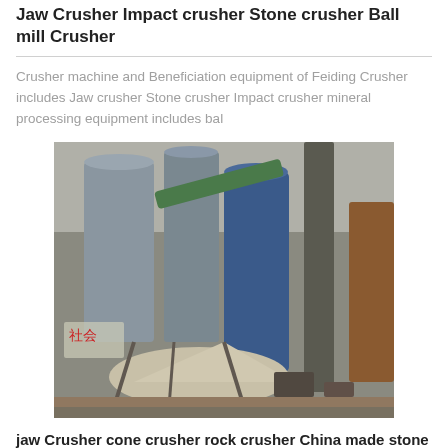Jaw Crusher Impact crusher Stone crusher Ball mill Crusher
Crusher machine and Beneficiation equipment of Feiding Crusher includes Jaw crusher Stone crusher Impact crusher mineral processing equipment includes bal
[Figure (photo): Industrial crusher facility in China showing large cylindrical silos, conveyor equipment, crushed stone aggregate pile, and heavy machinery with Chinese characters visible on a sign reading 社会]
jaw Crusher cone crusher rock crusher China made stone
industrial use of jaw crushercrushing equipment